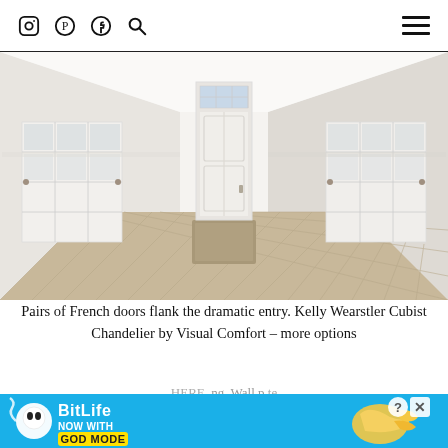Instagram Pinterest Facebook Search [hamburger menu]
[Figure (photo): Overhead/wide-angle view of a white foyer entryway with herringbone wood floors, a front door with transom window, a doormat, and pairs of French doors with glass panes on both sides.]
Pairs of French doors flank the dramatic entry. Kelly Wearstler Cubist Chandelier by Visual Comfort – more options HERE. [ad overlay] ng. Wall p te
[Figure (screenshot): Advertisement banner for BitLife game: 'Now with GOD MODE' on a blue background with cartoon character graphics and a close button (X).]